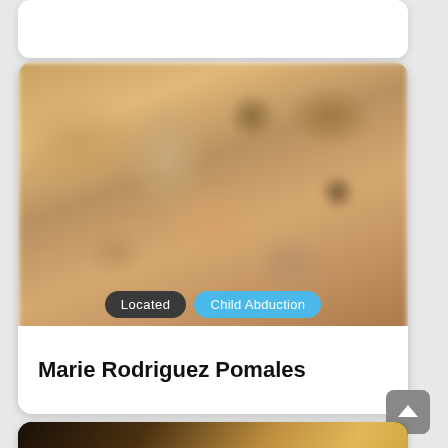[Figure (photo): Partial top of a previous card, white rounded rectangle visible at top of page]
[Figure (photo): Close-up blurred photo of a smiling woman with light brown/blonde hair, warm skin tone, dark eyes. Photo fills upper portion of card.]
Located
Child Abduction
Marie Rodriguez Pomales
[Figure (photo): Bottom portion of another card partially visible at the very bottom of the page, dark background with golden/brown tones]